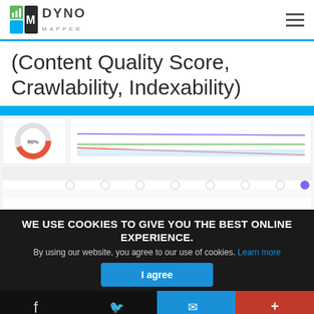Dyno Mapper logo and navigation
(Content Quality Score, Crawlability, Indexability)
[Figure (screenshot): Screenshot of Dyno Mapper web application dashboard showing content quality scores, a donut chart, and a data table with crawlability and indexability metrics.]
WE USE COOKIES TO GIVE YOU THE BEST ONLINE EXPERIENCE.
By using our website, you agree to our use of cookies. Learn more
I agree